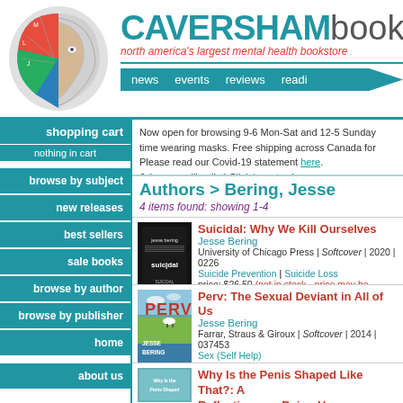[Figure (logo): Caversham Books logo: phrenology head diagram with colorful brain illustration]
CAVERSHAMbooks
north america's largest mental health bookstore
news  events  reviews  readi
shopping cart
nothing in cart
browse by subject
new releases
best sellers
sale books
browse by author
browse by publisher
home
about us
Now open for browsing 9-6 Mon-Sat and 12-5 Sunday time wearing masks. Free shipping across Canada for Please read our Covid-19 statement here. Join our mailing list! Click here to sign up.
Authors > Bering, Jesse
4 items found: showing 1-4
[Figure (photo): Book cover: Suicidal: Why We Kill Ourselves by Jesse Bering - dark cover with white text]
Suicidal: Why We Kill Ourselves
Jesse Bering
University of Chicago Press | Softcover | 2020 | 0226...
Suicide Prevention | Suicide Loss
price: $26.50 (not in stock - price may be subject to
[Figure (photo): Book cover: Perv: The Sexual Deviant in All of Us by Jesse Bering - blue/green landscape with sheep]
Perv: The Sexual Deviant in All of Us
Jesse Bering
Farrar, Straus & Giroux | Softcover | 2014 | 037453...
Sex (Self Help)
price: $24.00 (not in stock - price may be subject to
[Figure (photo): Book cover: Why Is the Penis Shaped Like That?: Reflections on Being Human]
Why Is the Penis Shaped Like That?: A...
Reflections on Being Human